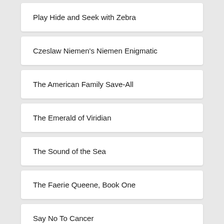Play Hide and Seek with Zebra
Czeslaw Niemen's Niemen Enigmatic
The American Family Save-All
The Emerald of Viridian
The Sound of the Sea
The Faerie Queene, Book One
Say No To Cancer